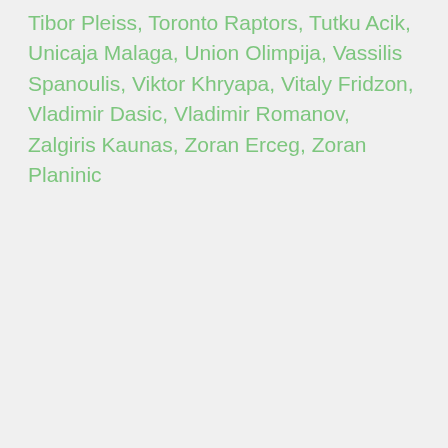Tibor Pleiss, Toronto Raptors, Tutku Acik, Unicaja Malaga, Union Olimpija, Vassilis Spanoulis, Viktor Khryapa, Vitaly Fridzon, Vladimir Dasic, Vladimir Romanov, Zalgiris Kaunas, Zoran Erceg, Zoran Planinic
RECENT POSTS
[Figure (photo): Basketball player dunking during EuroBasket game]
EuroBasket GotD – Serbia vs Finland
19 hours ago
[Figure (photo): Basketball game photo thumbnail]